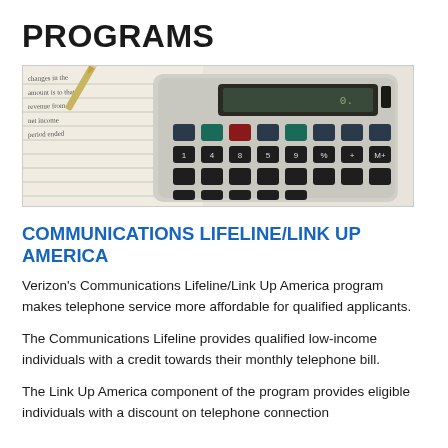PROGRAMS
[Figure (photo): Close-up photograph of a calculator on top of handwritten notes/ledger paper, with a pencil visible in the upper left.]
COMMUNICATIONS LIFELINE/LINK UP AMERICA
Verizon's Communications Lifeline/Link Up America program makes telephone service more affordable for qualified applicants.
The Communications Lifeline provides qualified low-income individuals with a credit towards their monthly telephone bill.
The Link Up America component of the program provides eligible individuals with a discount on telephone connection